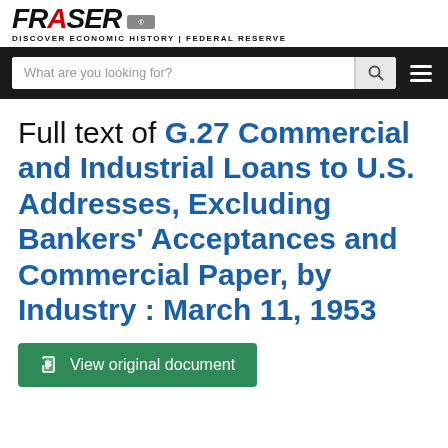FRASER | DISCOVER ECONOMIC HISTORY | FEDERAL RESERVE
Full text of G.27 Commercial and Industrial Loans to U.S. Addresses, Excluding Bankers' Acceptances and Commercial Paper, by Industry : March 11, 1953
View original document